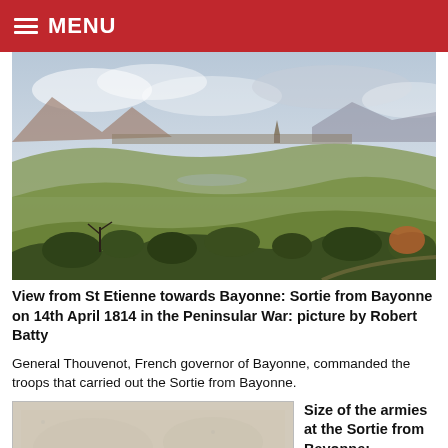MENU
[Figure (illustration): Historical color landscape painting: View from St Etienne towards Bayonne, showing rolling green hills, trees, a distant town with a cathedral spire, mountains in background, and cloudy sky.]
View from St Etienne towards Bayonne: Sortie from Bayonne on 14th April 1814 in the Peninsular War: picture by Robert Batty
General Thouvenot, French governor of Bayonne, commanded the troops that carried out the Sortie from Bayonne.
[Figure (photo): Faded light grey/beige historical document or photograph, texture visible, mostly blank.]
Size of the armies at the Sortie from Bayonne: